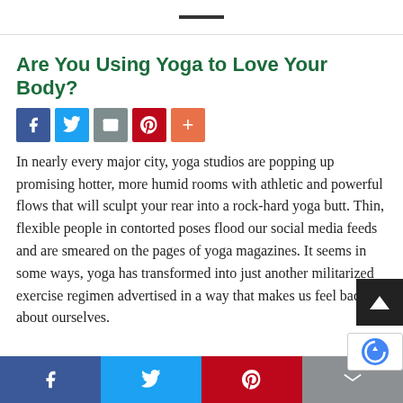Are You Using Yoga to Love Your Body?
[Figure (other): Social share buttons: Facebook (blue), Twitter (light blue), Email (grey), Pinterest (red), More/plus (orange-red)]
In nearly every major city, yoga studios are popping up promising hotter, more humid rooms with athletic and powerful flows that will sculpt your rear into a rock-hard yoga butt. Thin, flexible people in contorted poses flood our social media feeds and are smeared on the pages of yoga magazines. It seems in some ways, yoga has transformed into just another militarized exercise regimen advertised in a way that makes us feel bad about ourselves.
Facebook | Twitter | Pinterest | Email